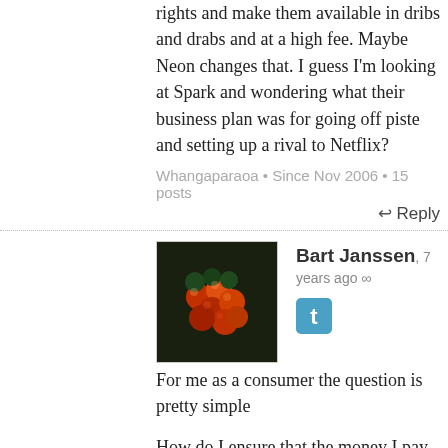rights and make them available in dribs and drabs and at a high fee. Maybe Neon changes that. I guess I'm looking at Spark and wondering what their business plan was for going off piste and setting up a rival to Netflix?
Whangaparaoa • Since Nov 2006 • 15 posts
↩ Reply
Bart Janssen, 7 years ago ∞
[Figure (photo): Avatar image of Bart Janssen showing colorful round objects (possibly grapes or berries) on a dark background]
For me as a consumer the question is pretty simple
How do I ensure that the money I pay to view, actually results in the creation of content I enjoy?
Back in the day local book distributors served a purpose, they got books to NZ that I would have no other way of accessing, same for TV/movie distribution companies. They were the ONLY way I could pay the creator for the product.
That they all clipped the ticket as it went past was a pain, but it was just the only way it could work